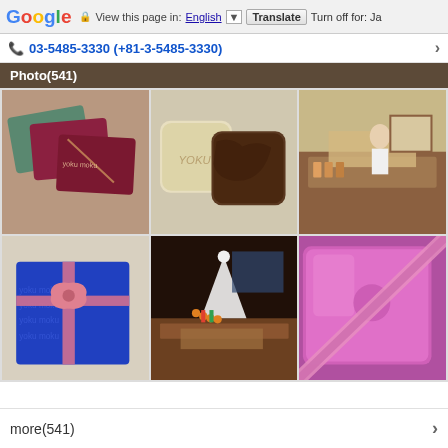Google  View this page in: English [▼]  Translate  Turn off for: Ja
03-5485-3330 (+81-3-5485-3330)
Photo(541)
[Figure (photo): Six photos of a chocolate shop: wrapped chocolate packages, chocolate cookie pieces, store interior with display counter, blue gift box with pink ribbon, store display with decorative tree and chocolates, pink metallic box with ribbon]
more(541)